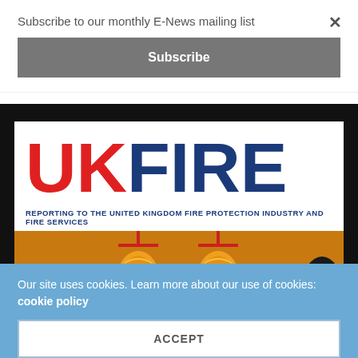Subscribe to our monthly E-News mailing list
Subscribe
[Figure (screenshot): UK Fire magazine cover showing 'UK FIRE' logo in red and blue with tagline 'REPORTING TO THE UNITED KINGDOM FIRE PROTECTION INDUSTRY AND FIRE SERVICES' and firefighting equipment photo below]
Our site uses cookies. Learn more about our use of cookies: cookie policy
ACCEPT